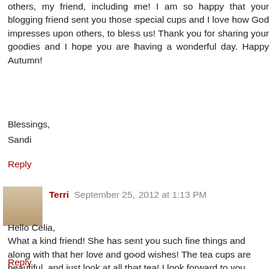others, my friend, including me! I am so happy that your blogging friend sent you those special cups and I love how God impresses upon others, to bless us! Thank you for sharing your goodies and I hope you are having a wonderful day. Happy Autumn!
Blessings,
Sandi
Reply
Terri  September 25, 2012 at 1:13 PM
Hello Celia,
What a kind friend! She has sent you such fine things and along with that her love and good wishes! The tea cups are beautiful, and just look at all that tea! I look forward to you sharing your gifts!
I hope that your difficult time is passing and that you are in less pain now. It is good to take a break :)
Hugs,
Terri
Reply